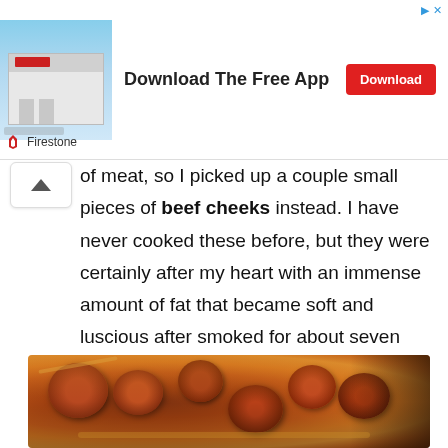[Figure (other): Advertisement banner for Firestone app download showing a store building image, 'Download The Free App' text, and a red Download button]
of meat, so I picked up a couple small pieces of beef cheeks instead. I have never cooked these before, but they were certainly after my heart with an immense amount of fat that became soft and luscious after smoked for about seven hours. Paired with the black pepper kick of the simple salt and pepper rub, I was in heaven eating these cheeks.
[Figure (photo): Close-up photo of sliced smoked sausage/meat pieces on a dark surface, showing the interior texture with a reddish-brown color]